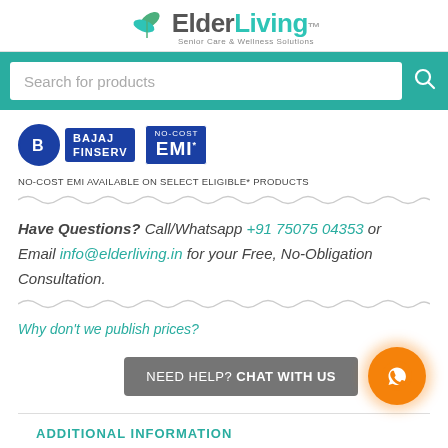[Figure (logo): ElderLiving logo with green leaf icon and tagline 'Senior Care & Wellness Solutions']
Search for products
[Figure (logo): Bajaj Finserv No-Cost EMI badge]
NO-COST EMI AVAILABLE ON SELECT ELIGIBLE* PRODUCTS
Have Questions? Call/Whatsapp +91 75075 04353 or Email info@elderliving.in for your Free, No-Obligation Consultation.
Why don't we publish prices?
NEED HELP? CHAT WITH US
ADDITIONAL INFORMATION